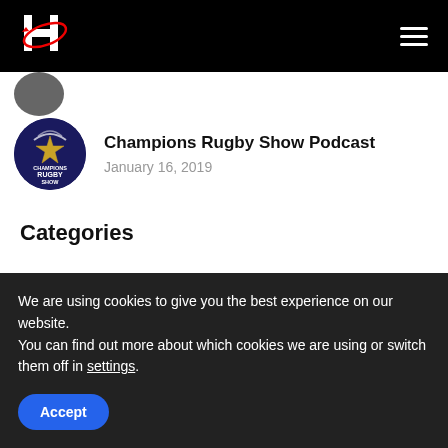[Figure (logo): Website logo with stylized H letter and red swoosh on black background]
[Figure (photo): Circular podcast badge for Champions Rugby Show with dark blue background, star, and text CHAMPIONS RUGBY SHOW]
Champions Rugby Show Podcast
January 16, 2019
Categories
Analysis (7)
Coaching (12)
We are using cookies to give you the best experience on our website.
You can find out more about which cookies we are using or switch them off in settings.
Accept